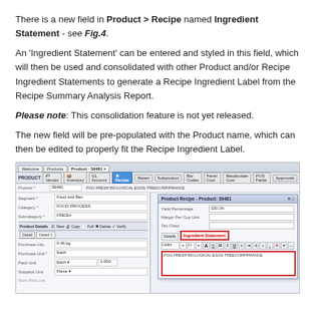There is a new field in Product > Recipe named Ingredient Statement - see Fig.4.
An 'Ingredient Statement' can be entered and styled in this field, which will then be used and consolidated with other Product and/or Recipe Ingredient Statements to generate a Recipe Ingredient Label from the Recipe Summary Analysis Report.
Please note: This consolidation feature is not yet released.
The new field will be pre-populated with the Product name, which can then be edited to properly fit the Recipe Ingredient Label.
[Figure (screenshot): Screenshot of a product recipe software interface showing the Product > Recipe form with an Ingredient Statement field highlighted in red, containing the text 'PGG FRESH BIOLOGICAL EGGS TREECORP/FRANCE']